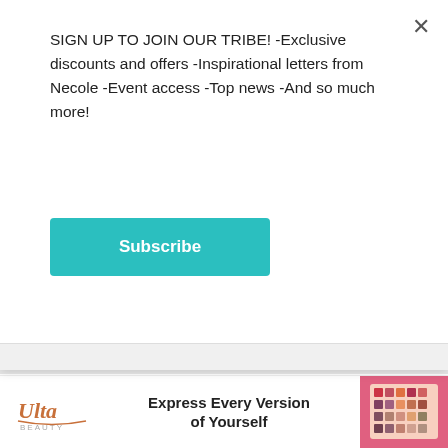SIGN UP TO JOIN OUR TRIBE! -Exclusive discounts and offers -Inspirational letters from Necole -Event access -Top news -And so much more!
Subscribe
FINANCE
How To Cope When You're In Debt
JANELL HAZELWOOD  26 AUGUST
[Figure (photo): Person with hands on head, appearing stressed, photographed from behind]
[Figure (other): Ulta Beauty advertisement banner: Express Every Version of Yourself, with makeup products on right side]